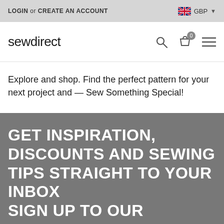LOGIN or CREATE AN ACCOUNT   GBP
sewdirect
Explore and shop. Find the perfect pattern for your next project and — Sew Something Special!
GET INSPIRATION, DISCOUNTS AND SEWING TIPS STRAIGHT TO YOUR INBOX SIGN UP TO OUR